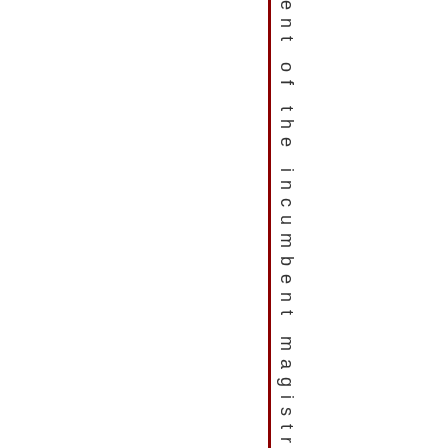ent of the incumbent magistrate